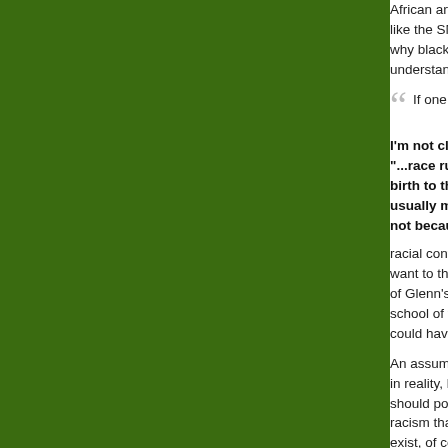[Figure (other): Dark green rectangular panel occupying the left portion of the page]
African ancestry go... like the SNL contro... why black America... understandable if t...
If one want...
I'm not clear whet... "...race rules fast... birth to the rules.... usually members... not because of "th... racial conventions]... want to think of the... of Glenn's nephew... school of thought c... could have provide...
An assumption: Gl... in reality, half-black... should portray him... racism that is a mir... exist, of course, bu... thought about ours-... historical context--...